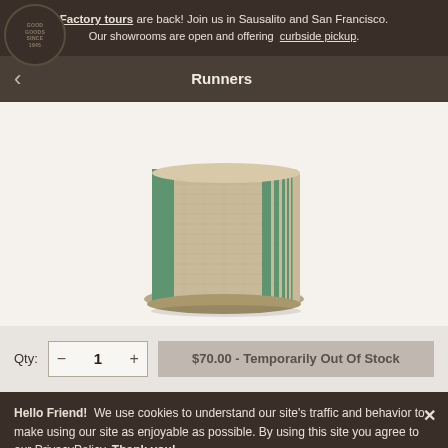Factory tours are back! Join us in Sausalito and San Francisco. Our showrooms are open and offering curbside pickup.
Runners
[Figure (photo): A folded linen runner/textile with green stripes on a white background]
Qty: — 1 + $70.00 - Temporarily Out Of Stock
Hello Friend! We use cookies to understand our site's traffic and behavior to make using our site as enjoyable as possible. By using this site you agree to our PrivacyPolicy. Thank you!